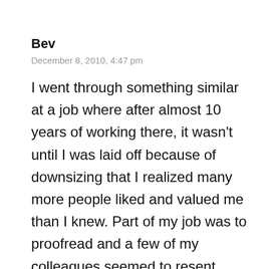Bev
December 8, 2010, 4:47 pm
I went through something similar at a job where after almost 10 years of working there, it wasn't until I was laid off because of downsizing that I realized many more people liked and valued me than I knew. Part of my job was to proofread and a few of my colleagues seemed to resent when I pointed out errors in their marketing materials. Some even avoided working